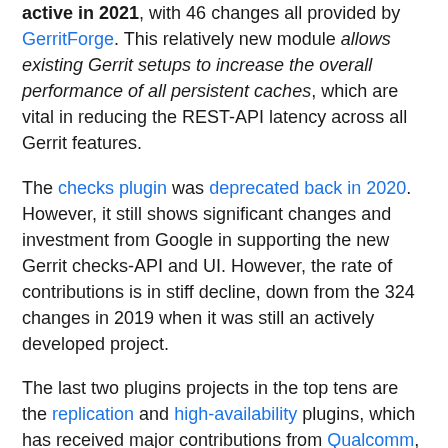active in 2021, with 46 changes all provided by GerritForge. This relatively new module allows existing Gerrit setups to increase the overall performance of all persistent caches, which are vital in reducing the REST-API latency across all Gerrit features.
The checks plugin was deprecated back in 2020. However, it still shows significant changes and investment from Google in supporting the new Gerrit checks-API and UI. However, the rate of contributions is in stiff decline, down from the 324 changes in 2019 when it was still an actively developed project.
The last two plugins projects in the top tens are the replication and high-availability plugins, which has received major contributions from Qualcomm, GerritForge, Google and Ericsson.